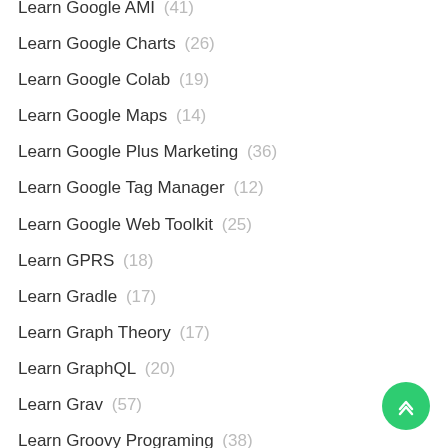Learn Google AMI (41)
Learn Google Charts (26)
Learn Google Colab (19)
Learn Google Maps (14)
Learn Google Plus Marketing (36)
Learn Google Tag Manager (12)
Learn Google Web Toolkit (25)
Learn GPRS (18)
Learn Gradle (17)
Learn Graph Theory (17)
Learn GraphQL (20)
Learn Grav (57)
Learn Groovy Programing (38)